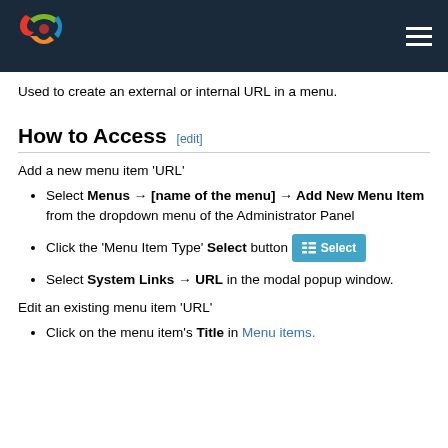Joomla logo and navigation hamburger menu
Used to create an external or internal URL in a menu.
How to Access [edit]
Add a new menu item 'URL'
Select Menus → [name of the menu] → Add New Menu Item from the dropdown menu of the Administrator Panel
Click the 'Menu Item Type' Select button [Select]
Select System Links → URL in the modal popup window.
Edit an existing menu item 'URL'
Click on the menu item's Title in Menu items.